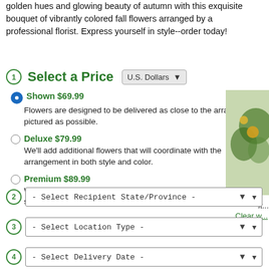golden hues and glowing beauty of autumn with this exquisite bouquet of vibrantly colored fall flowers arranged by a professional florist. Express yourself in style--order today!
1 Select a Price  U.S. Dollars
Shown $69.99 — Flowers are designed to be delivered as close to the arrangement pictured as possible.
Deluxe $79.99 — We'll add additional flowers that will coordinate with the arrangement in both style and color.
Premium $89.99 — We'll add lots more! The premium arrangement makes quite a statement.
2 - Select Recipient State/Province -
3 - Select Location Type -
4 - Select Delivery Date -